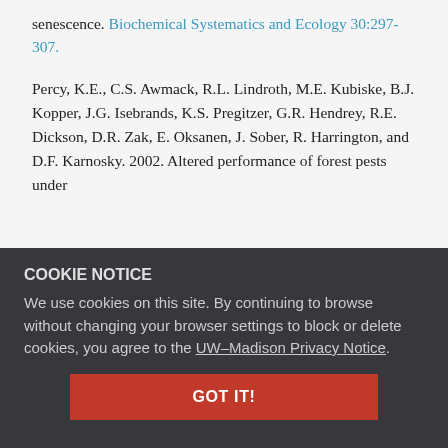senescence. Biochemical Systematics and Ecology 30:297-307.
Percy, K.E., C.S. Awmack, R.L. Lindroth, M.E. Kubiske, B.J. Kopper, J.G. Isebrands, K.S. Pregitzer, G.R. Hendrey, R.E. Dickson, D.R. Zak, E. Oksanen, J. Sober, R. Harrington, and D.F. Karnosky. 2002. Altered performance of forest pests under atmospheres enriched by CO2 and O3. Nature 420:403-407.
COOKIE NOTICE
We use cookies on this site. By continuing to browse without changing your browser settings to block or delete cookies, you agree to the UW–Madison Privacy Notice.